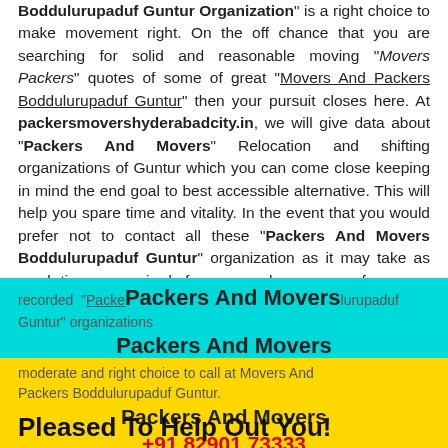"Boddulurupaduf Guntur Organization" is a right choice to make movement right. On the off chance that you are searching for solid and reasonable moving "Movers Packers" quotes of some of great "Movers And Packers Boddulurupaduf Guntur" then your pursuit closes here. At packersmovershyderabadcity.in, we will give data about "Packers And Movers" Relocation and shifting organizations of Guntur which you can come close keeping in mind the end goal to best accessible alternative. This will help you spare time and vitality. In the event that you would prefer not to contact all these "Packers And Movers Boddulurupaduf Guntur" organization as it may take as much time as required of course we have answer for you as single inquiry structure. When we have got inquiry from you we will give you cites from our recorded "Packers And Movers Boddulurupaduf Guntur" organizations, look at quotes and pick the moderate and right choice to call at Movers And Packers Boddulurupaduf Guntur.
[Figure (infographic): Cyan banner with Packers And Movers heading, phone +91 82901 73333, and address LB Nagar, Old Bowenpally Secunderabad, Hyderabad 500011]
[Figure (infographic): Yellow banner with Packers And Movers heading, phone +91 82901 73333, and address Swarndhama Colony, Old BowenPally, Secunderabad 500011]
Pleased To Help Out You!